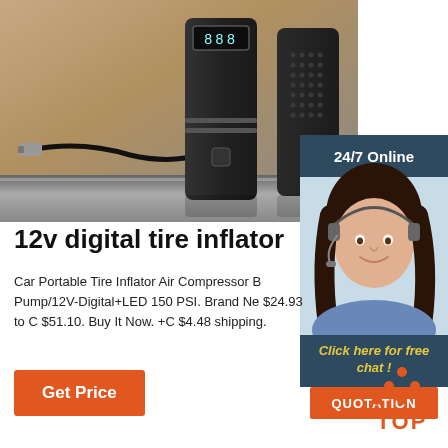[Figure (photo): Product photo of a 12v digital tire inflator / air compressor pump and accessories on a metallic shelf surface]
[Figure (photo): Customer service representative with headset, 24/7 Online chat widget overlay in dark blue with yellow 'Click here for free chat!' text and orange QUOTATION button]
12v digital tire inflator
Car Portable Tire Inflator Air Compressor B Pump/12V-Digital+LED 150 PSI. Brand Ne $24.93 to C $51.10. Buy It Now. +C $4.48 shipping.
Get Price
[Figure (other): Orange TOP button with triangle dots above and orange text 'TOP']